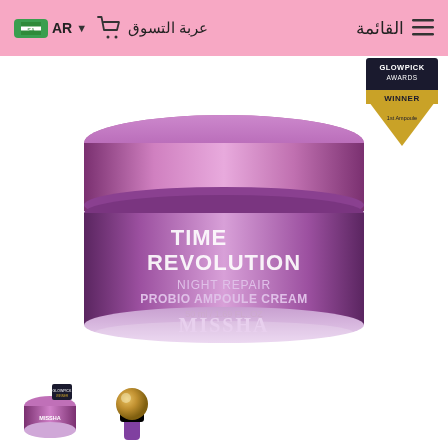القائمة | عربة التسوق | AR
[Figure (photo): MISSHA Time Revolution Night Repair Probio Ampoule Cream 50ml jar with purple metallic lid and glass base, featuring product text on jar]
[Figure (photo): Glowpick Awards Winner badge in gold and dark colors, top right corner]
[Figure (photo): Thumbnail image 1: small purple MISSHA cream jar with glowpick badge]
[Figure (photo): Thumbnail image 2: MISSHA product with spherical applicator]